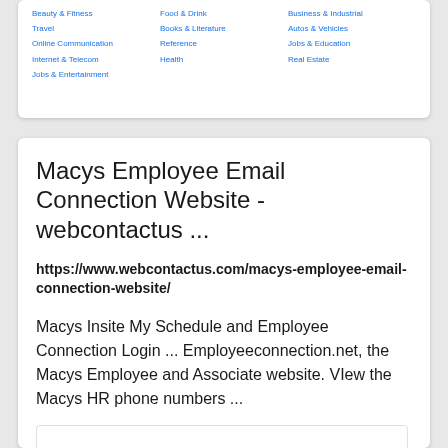[Figure (screenshot): Partial screenshot showing a list of link categories in three columns including Travel, Online Communication, Internet & Telecom, Jobs & Entertainment, Food & Drink, Books & Literature, Reference, Health, Business & Industrial, Autos & Vehicles, Jobs & Education, Real Estate]
Macys Employee Email Connection Website - webcontactus ...
https://www.webcontactus.com/macys-employee-email-connection-website/
Macys Insite My Schedule and Employee Connection Login ... Employeeconnection.net, the Macys Employee and Associate website. VIew the Macys HR phone numbers ...
[Figure (screenshot): Blank/empty thumbnail preview box]